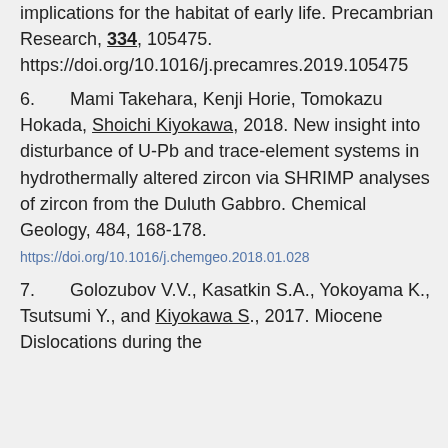implications for the habitat of early life. Precambrian Research, 334, 105475. https://doi.org/10.1016/j.precamres.2019.105475
6. Mami Takehara, Kenji Horie, Tomokazu Hokada, Shoichi Kiyokawa, 2018. New insight into disturbance of U-Pb and trace-element systems in hydrothermally altered zircon via SHRIMP analyses of zircon from the Duluth Gabbro. Chemical Geology, 484, 168-178. https://doi.org/10.1016/j.chemgeo.2018.01.028
7. Golozubov V.V., Kasatkin S.A., Yokoyama K., Tsutsumi Y., and Kiyokawa S., 2017. Miocene Dislocations during the